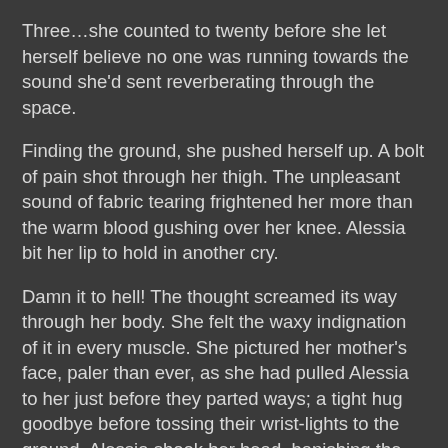Three…she counted to twenty before she let herself believe no one was running towards the sound she'd sent reverberating through the space.
Finding the ground, she pushed herself up. A bolt of pain shot through her thigh. The unpleasant sound of fabric tearing frightened her more than the warm blood gushing over her knee. Alessia bit her lip to hold in another cry.
Damn it to hell! The thought screamed its way through her body. She felt the waxy indignation of it in every muscle. She pictured her mother's face, paler than ever, as she had pulled Alessia to her just before they parted ways; a tight hug goodbye before tossing their wrist-lights to the ground. Alessia shook her head, banishing the image. Rey, her mother, was fighting her own battle somewhere else. She couldn't even hazard a guess as to why her father wasn't there when she'd been roused. She was on her own.